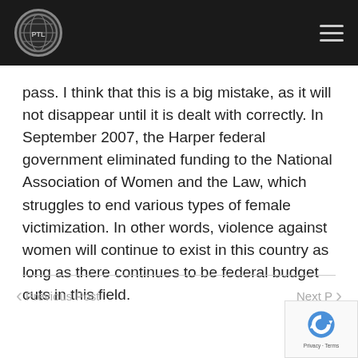PTL logo and navigation menu
pass. I think that this is a big mistake, as it will not disappear until it is dealt with correctly. In September 2007, the Harper federal government eliminated funding to the National Association of Women and the Law, which struggles to end various types of female victimization. In other words, violence against women will continue to exist in this country as long as there continues to be federal budget cuts in this field.
Previous Post   Next Post